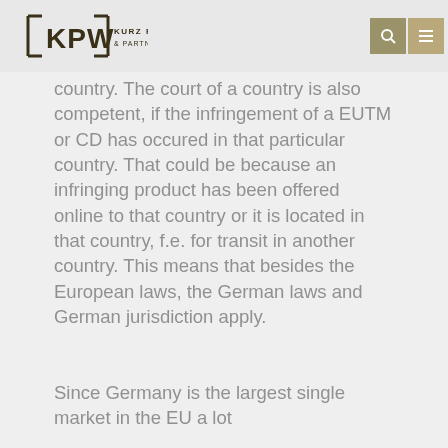KPW KURZ PFITZER WOLF & PARTNER
country. The court of a country is also competent, if the infringement of a EUTM or CD has occured in that particular country. That could be because an infringing product has been offered online to that country or it is located in that country, f.e. for transit in another country. This means that besides the European laws, the German laws and German jurisdiction apply.
Since Germany is the largest single market in the EU a lot